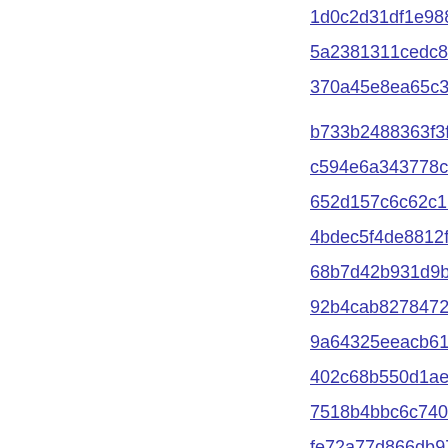1d0c2d31df1e988a334a3cada9eb5113f16...
5a2381311cedc81a16222f90b854675fa00...
370a45e8ea65c3fe50b9abd4651c525c18a...
b733b2488363f3f2bdd6e14cc9df1694f7f8a...
c594e6a343778c1c0fb27466b5554ca788c...
652d157c6c62c1b24ffd3db5f08d04c3393e...
4bdec5f4de8812ff5b5bb2df94733457447...
68b7d42b931d9b0e7be37ad0098eb1b013...
92b4cab82784725d2a0b83157cab605e8d...
9a64325eeacb61c7de1e00977233a23462...
402c68b550d1aede856016eee0325f2c4cc...
7518b4bbc6c740d8f63c1cfaf765c9e136b6...
fe72a77d866db978bddf7f008d5bd286361...
4f8e3acdef35337054c23776fcb78ce51892...